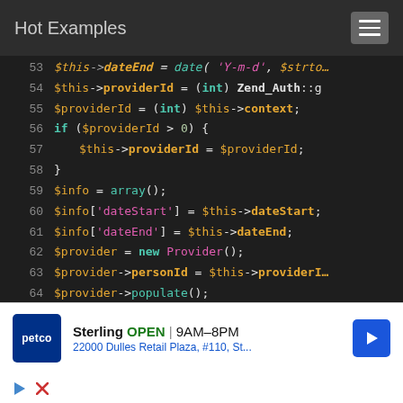Hot Examples
[Figure (screenshot): PHP code viewer showing lines 53-67 with syntax highlighting on dark background. Lines show PHP variable assignments including $this->providerId, $providerId, conditionals, $info array operations, and $provider object usage.]
[Figure (infographic): Advertisement banner for Petco Sterling store showing OPEN status, hours 9AM-8PM, and address 22000 Dulles Retail Plaza, #110, St... with navigation arrow icon. Below it are play and close ad icons.]